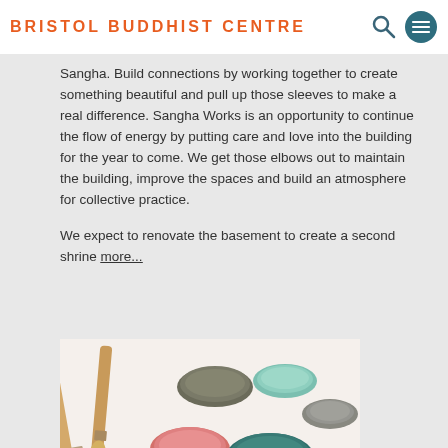BRISTOL BUDDHIST CENTRE
Sangha. Build connections by working together to create something beautiful and pull up those sleeves to make a real difference. Sangha Works is an opportunity to continue the flow of energy by putting care and love into the building for the year to come. We get those elbows out to maintain the building, improve the spaces and build an atmosphere for collective practice.
We expect to renovate the basement to create a second shrine more...
[Figure (photo): Paint brushes and open paint tin lids in various colors including pink, teal, yellow, gray, and mint green, arranged on a white surface]